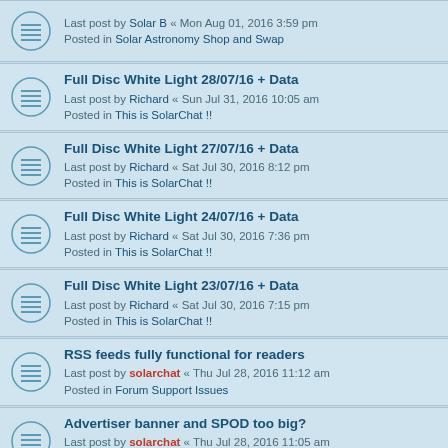Last post by Solar B « Mon Aug 01, 2016 3:59 pm
Posted in Solar Astronomy Shop and Swap
Full Disc White Light 28/07/16 + Data
Last post by Richard « Sun Jul 31, 2016 10:05 am
Posted in This is SolarChat !!
Full Disc White Light 27/07/16 + Data
Last post by Richard « Sat Jul 30, 2016 8:12 pm
Posted in This is SolarChat !!
Full Disc White Light 24/07/16 + Data
Last post by Richard « Sat Jul 30, 2016 7:36 pm
Posted in This is SolarChat !!
Full Disc White Light 23/07/16 + Data
Last post by Richard « Sat Jul 30, 2016 7:15 pm
Posted in This is SolarChat !!
RSS feeds fully functional for readers
Last post by solarchat « Thu Jul 28, 2016 11:12 am
Posted in Forum Support Issues
Advertiser banner and SPOD too big?
Last post by solarchat « Thu Jul 28, 2016 11:05 am
Posted in Forum Support Issues
phpBB 3.1 users guide
Last post by solarchat « Thu Jul 28, 2016 11:01 am
Posted in Forum Support Issues
Question: Which reducer do you recommend?
Last post by cshahar « Tue Jul 26, 2016 12:30 am
Posted in This is SolarChat !!